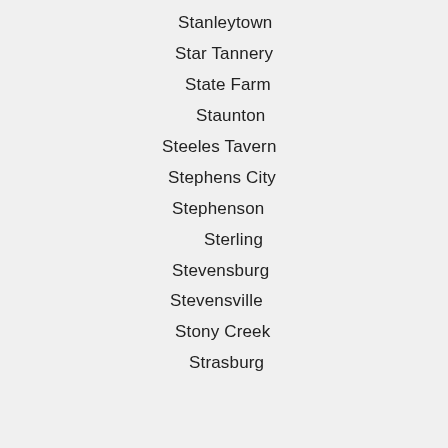Stanleytown
Star Tannery
State Farm
Staunton
Steeles Tavern
Stephens City
Stephenson
Sterling
Stevensburg
Stevensville
Stony Creek
Strasburg